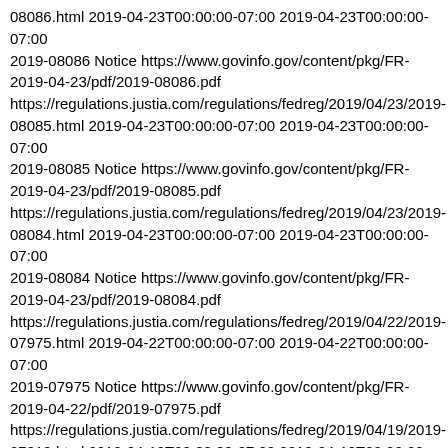08086.html 2019-04-23T00:00:00-07:00 2019-04-23T00:00:00-07:00
2019-08086 Notice https://www.govinfo.gov/content/pkg/FR-2019-04-23/pdf/2019-08086.pdf https://regulations.justia.com/regulations/fedreg/2019/04/23/2019-08085.html 2019-04-23T00:00:00-07:00 2019-04-23T00:00:00-07:00
2019-08085 Notice https://www.govinfo.gov/content/pkg/FR-2019-04-23/pdf/2019-08085.pdf https://regulations.justia.com/regulations/fedreg/2019/04/23/2019-08084.html 2019-04-23T00:00:00-07:00 2019-04-23T00:00:00-07:00
2019-08084 Notice https://www.govinfo.gov/content/pkg/FR-2019-04-23/pdf/2019-08084.pdf https://regulations.justia.com/regulations/fedreg/2019/04/22/2019-07975.html 2019-04-22T00:00:00-07:00 2019-04-22T00:00:00-07:00
2019-07975 Notice https://www.govinfo.gov/content/pkg/FR-2019-04-22/pdf/2019-07975.pdf https://regulations.justia.com/regulations/fedreg/2019/04/19/2019-07919.html 2019-04-19T00:00:00-07:00 2019-04-19T00:00:00-07:00
2019-07919 Proposed Rule https://www.govinfo.gov/content/pkg/FR-2019-04-19/pdf/2019-07919.pdf https://regulations.justia.com/regulations/fedreg/2019/04/19/2019-